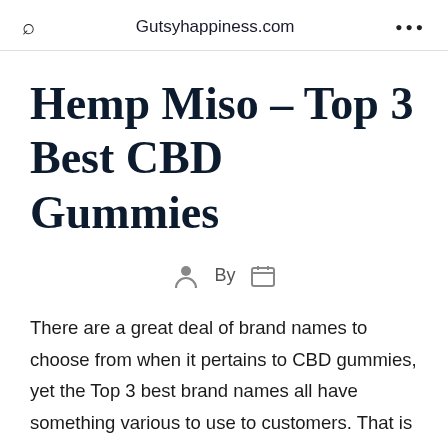Gutsyhappiness.com
Hemp Miso – Top 3 Best CBD Gummies
By
There are a great deal of brand names to choose from when it pertains to CBD gummies, yet the Top 3 best brand names all have something various to use to customers. That is why it is essential to make certain that you get the most out of your acquisition